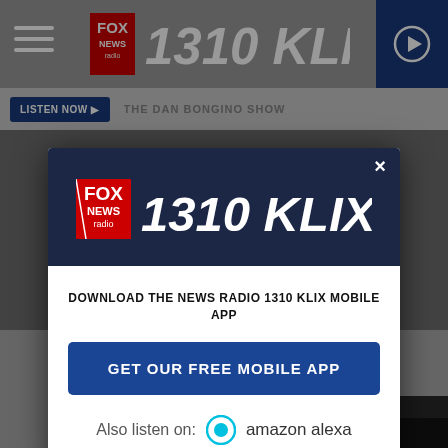[Figure (screenshot): Fox News Radio 1310 KLIX website header with navigation bar, hamburger menu, station logo, and play button]
LISTEN NOW → THE DAN BONGINO SHOW
[Figure (logo): Fox News Radio 1310 KLIX logo in white on dark navy blue background inside modal popup]
×
DOWNLOAD THE NEWS RADIO 1310 KLIX MOBILE APP
GET OUR FREE MOBILE APP
Also listen on:  amazon alexa
Sponsored
Odd Couples: David Bowie and J...